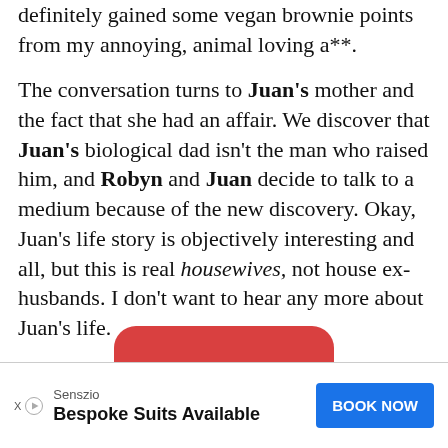Proud softly plays in the background. Juan has definitely gained some vegan brownie points from my annoying, animal loving a**.
The conversation turns to Juan's mother and the fact that she had an affair. We discover that Juan's biological dad isn't the man who raised him, and Robyn and Juan decide to talk to a medium because of the new discovery. Okay, Juan's life story is objectively interesting and all, but this is real housewives, not house ex-husbands. I don't want to hear any more about Juan's life.
[Figure (other): Partial view of a red rounded button peeking from bottom of content area]
Senszio — Bespoke Suits Available — BOOK NOW (advertisement)